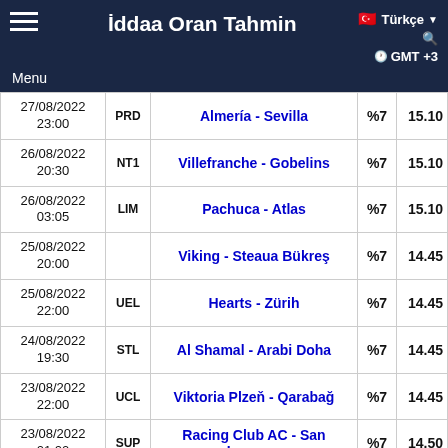İddaa Oran Tahmin | Menu | Türkçe | GMT +3
| Date/Time | League | Match | % | Odd |
| --- | --- | --- | --- | --- |
| 27/08/2022 23:00 | PRD | Almería - Sevilla | %7 | 15.10 |
| 26/08/2022 20:30 | NT1 | Villefranche - Gobelins | %7 | 15.10 |
| 26/08/2022 03:05 | LIM | Pachuca - Atlas | %7 | 15.10 |
| 25/08/2022 20:00 |  | Viking - Steaua Bükreş | %7 | 14.45 |
| 25/08/2022 22:00 | UEL | Hearts - Zürih | %7 | 14.45 |
| 24/08/2022 19:30 | STL | Al Shamal - Arabi Doha | %7 | 14.45 |
| 23/08/2022 22:00 | UCL | Viktoria Plzeň - Qarabağ | %7 | 14.45 |
| 23/08/2022 01:00 | SUP | Racing Club AC - San Lorenzo | %7 | 14.50 |
| 27/08/2022 | LI2 | Paris FC - Caen | %7 | 14.50 |